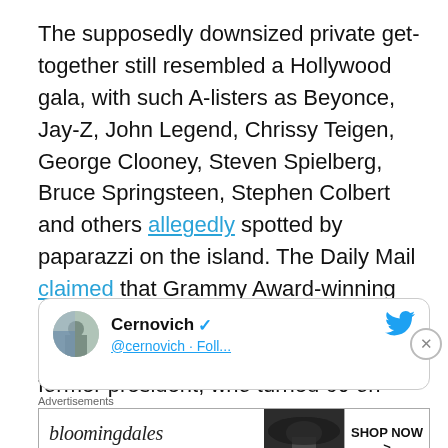The supposedly downsized private get-together still resembled a Hollywood gala, with such A-listers as Beyonce, Jay-Z, John Legend, Chrissy Teigen, George Clooney, Steven Spielberg, Bruce Springsteen, Stephen Colbert and others allegedly spotted by paparazzi on the island. The Daily Mail claimed that Grammy Award-winning singer and composer Alicia Keys was set to perform Happy Birthday for the former president, who turned 60 on August 4.
[Figure (screenshot): Partial Twitter/X card showing Cernovich verified account with avatar photo and blue bird icon, partially visible tweet content]
Advertisements
[Figure (screenshot): Bloomingdale's advertisement banner with logo text 'bloomingdales', tagline 'View Today's Top Deals!', image of woman in wide-brim hat, and SHOP NOW > button]